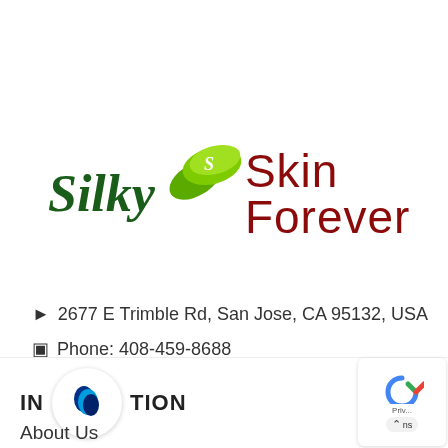[Figure (logo): Silky Skin Forever logo with green leaf and cursive/serif text]
2677 E Trimble Rd, San Jose, CA 95132, USA
Phone: 408-459-8688
email: info@silkyskinforever.com
INFORMATION
About Us